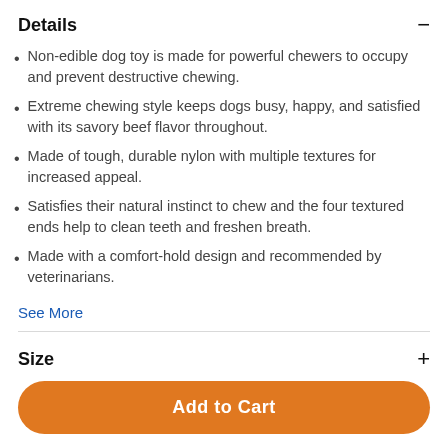Details
Non-edible dog toy is made for powerful chewers to occupy and prevent destructive chewing.
Extreme chewing style keeps dogs busy, happy, and satisfied with its savory beef flavor throughout.
Made of tough, durable nylon with multiple textures for increased appeal.
Satisfies their natural instinct to chew and the four textured ends help to clean teeth and freshen breath.
Made with a comfort-hold design and recommended by veterinarians.
See More
Size
Add to Cart